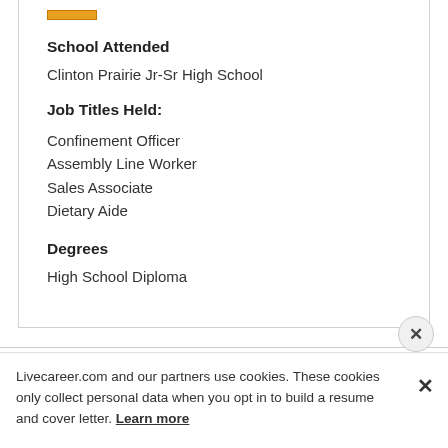School Attended
Clinton Prairie Jr-Sr High School
Job Titles Held:
Confinement Officer
Assembly Line Worker
Sales Associate
Dietary Aide
Degrees
High School Diploma
Livecareer.com and our partners use cookies. These cookies only collect personal data when you opt in to build a resume and cover letter. Learn more